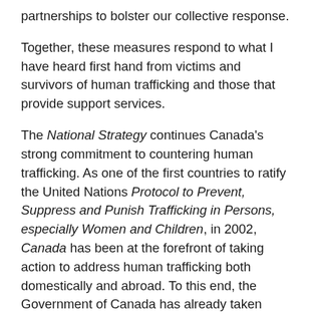partnerships to bolster our collective response.
Together, these measures respond to what I have heard first hand from victims and survivors of human trafficking and those that provide support services.
The National Strategy continues Canada's strong commitment to countering human trafficking. As one of the first countries to ratify the United Nations Protocol to Prevent, Suppress and Punish Trafficking in Persons, especially Women and Children, in 2002, Canada has been at the forefront of taking action to address human trafficking both domestically and abroad. To this end, the Government of Canada has already taken significant steps to address this abhorrent crime, including providing contribution funding to external organizations that are best placed to respond to the critical needs of victims and survivors of this crime; raising awareness through targeted campaigns, including the Royal Canadian Mounted Police's (RCMP) I'm not for sale initiative; and supporting amendments to the Criminal Code to facilitate ...